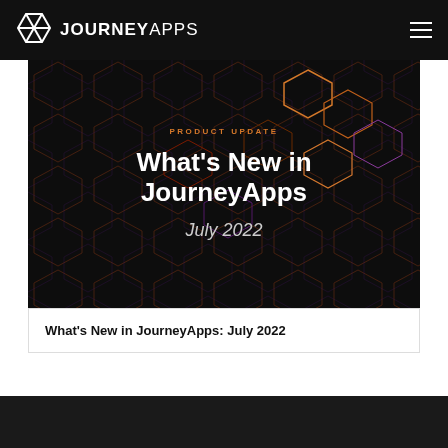JOURNEYAPPS
PRODUCT UPDATE
What's New in JourneyApps
July 2022
What's New in JourneyApps: July 2022